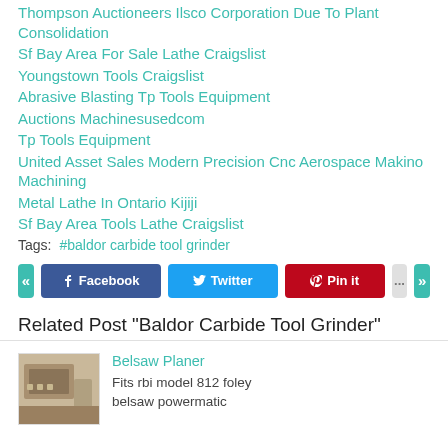Thompson Auctioneers Ilsco Corporation Due To Plant Consolidation
Sf Bay Area For Sale Lathe Craigslist
Youngstown Tools Craigslist
Abrasive Blasting Tp Tools Equipment
Auctions Machinesusedcom
Tp Tools Equipment
United Asset Sales Modern Precision Cnc Aerospace Makino Machining
Metal Lathe In Ontario Kijiji
Sf Bay Area Tools Lathe Craigslist
Tags:    #baldor carbide tool grinder
« Facebook Twitter Pin it … »
Related Post "Baldor Carbide Tool Grinder"
Belsaw Planer
Fits rbi model 812 foley belsaw powermatic